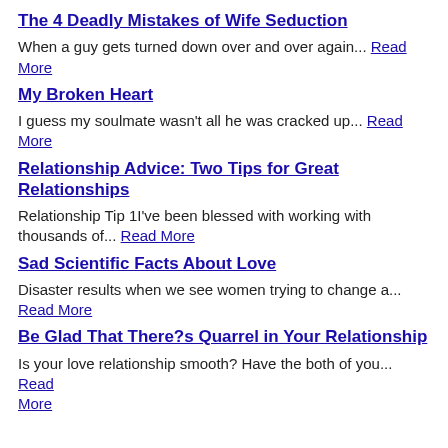The 4 Deadly Mistakes of Wife Seduction
When a guy gets turned down over and over again... Read More
My Broken Heart
I guess my soulmate wasn't all he was cracked up... Read More
Relationship Advice: Two Tips for Great Relationships
Relationship Tip 1I've been blessed with working with thousands of... Read More
Sad Scientific Facts About Love
Disaster results when we see women trying to change a... Read More
Be Glad That There?s Quarrel in Your Relationship
Is your love relationship smooth? Have the both of you... Read More